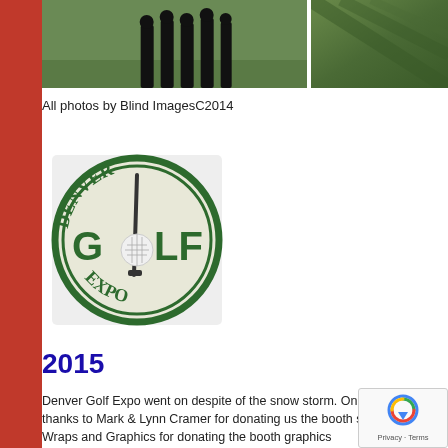[Figure (photo): Group photo of people standing on a golf course green]
[Figure (photo): Aerial or wide view of a golf course with shadows on green]
All photos by Blind ImagesC2014
[Figure (logo): Denver Golf Expo circular logo with golf ball and club]
2015
Denver Golf Expo went on despite of the snow storm. On behalf thanks to Mark & Lynn Cramer for donating us the booth space Wraps and Graphics for donating the booth graphics Noller, Susan Negley, Fred Gayles, Steve and Jenni without you!